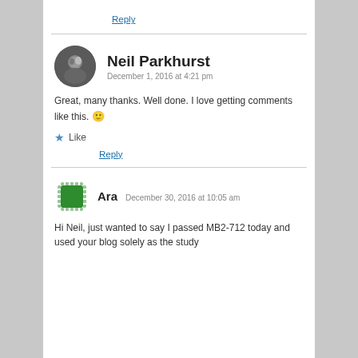Reply
Neil Parkhurst
December 1, 2016 at 4:21 pm
Great, many thanks. Well done. I love getting comments like this. 🙂
Like
Reply
Ara  December 30, 2016 at 10:05 am
Hi Neil, just wanted to say I passed MB2-712 today and used your blog solely as the study